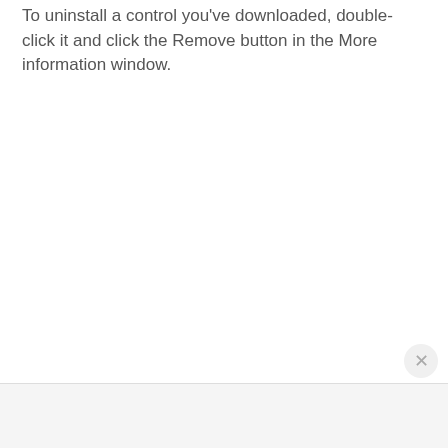To uninstall a control you've downloaded, double-click it and click the Remove button in the More information window.